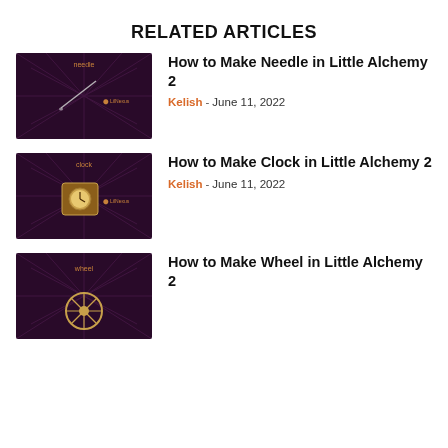RELATED ARTICLES
[Figure (screenshot): Dark purple/maroon background with radiating light rays and a needle image, text 'needle' and 'LilNexus']
How to Make Needle in Little Alchemy 2
Kelish - June 11, 2022
[Figure (screenshot): Dark purple/maroon background with radiating light rays and a clock image, text 'clock' and 'LilNexus']
How to Make Clock in Little Alchemy 2
Kelish - June 11, 2022
[Figure (screenshot): Dark purple/maroon background with radiating light rays and a wheel image, text 'wheel']
How to Make Wheel in Little Alchemy 2